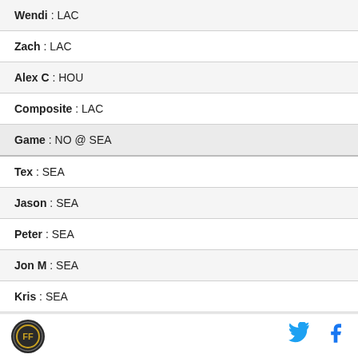| Wendi : LAC |
| Zach : LAC |
| Alex C : HOU |
| Composite : LAC |
| Game : NO @ SEA |
| Tex : SEA |
| Jason : SEA |
| Peter : SEA |
| Jon M : SEA |
| Kris : SEA |
| Matub : SEA |
Logo | Twitter | Facebook